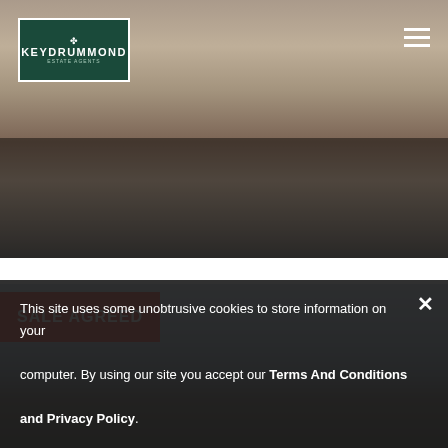[Figure (photo): Exterior photo of a brick terraced house on Florence Road, Lower Parkstone. Red brick facade with white-framed windows and door.]
[Figure (logo): Key Drummond Estate Agents logo — white text on dark green background with a decorative key icon]
2 BEDROOM HOUSE
£350,000
Florence Road, Lower Parkstone
[Figure (photo): Second property photo showing rooftops against a blue sky with clouds — lower portion of page]
SALE AGREED
This site uses some unobtrusive cookies to store information on your computer. By using our site you accept our Terms And Conditions and Privacy Policy.